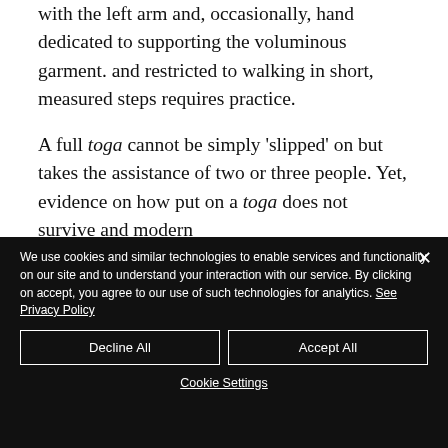with the left arm and, occasionally, hand dedicated to supporting the voluminous garment. and restricted to walking in short, measured steps requires practice.
A full toga cannot be simply 'slipped' on but takes the assistance of two or three people. Yet, evidence on how put on a toga does not survive and modern
We use cookies and similar technologies to enable services and functionality on our site and to understand your interaction with our service. By clicking on accept, you agree to our use of such technologies for analytics. See Privacy Policy
Decline All
Accept All
Cookie Settings